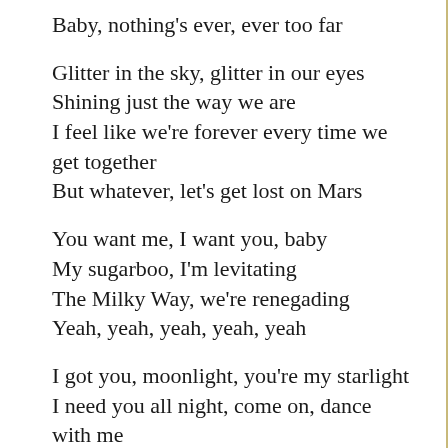Baby, nothing's ever, ever too far
Glitter in the sky, glitter in our eyes
Shining just the way we are
I feel like we're forever every time we get together
But whatever, let's get lost on Mars
You want me, I want you, baby
My sugarboo, I'm levitating
The Milky Way, we're renegading
Yeah, yeah, yeah, yeah, yeah
I got you, moonlight, you're my starlight
I need you all night, come on, dance with me
(I'm levitating)
You, moonlight, you're my starlight (You're the moonlight)